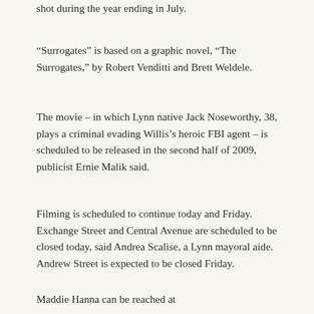shot during the year ending in July.
“Surrogates” is based on a graphic novel, “The Surrogates,” by Robert Venditti and Brett Weldele.
The movie – in which Lynn native Jack Noseworthy, 38, plays a criminal evading Willis’s heroic FBI agent – is scheduled to be released in the second half of 2009, publicist Ernie Malik said.
Filming is scheduled to continue today and Friday. Exchange Street and Central Avenue are scheduled to be closed today, said Andrea Scalise, a Lynn mayoral aide. Andrew Street is expected to be closed Friday.
Maddie Hanna can be reached at